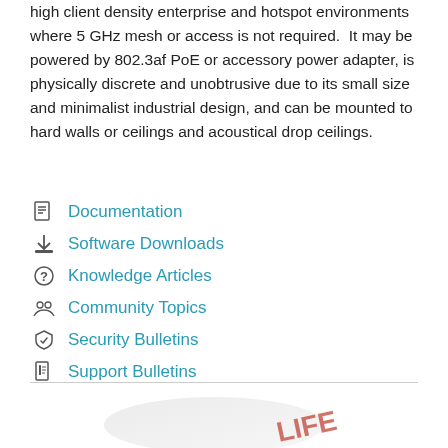high client density enterprise and hotspot environments where 5 GHz mesh or access is not required.  It may be powered by 802.3af PoE or accessory power adapter, is physically discrete and unobtrusive due to its small size and minimalist industrial design, and can be mounted to hard walls or ceilings and acoustical drop ceilings.
Documentation
Software Downloads
Knowledge Articles
Community Topics
Security Bulletins
Support Bulletins
[Figure (photo): Partial view of a networking device (access point) with red text overlay reading 'LIFE' visible in the bottom right area]